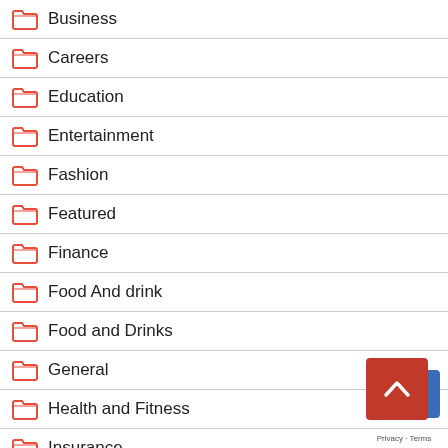Business
Careers
Education
Entertainment
Fashion
Featured
Finance
Food And drink
Food and Drinks
General
Health and Fitness
Insurance